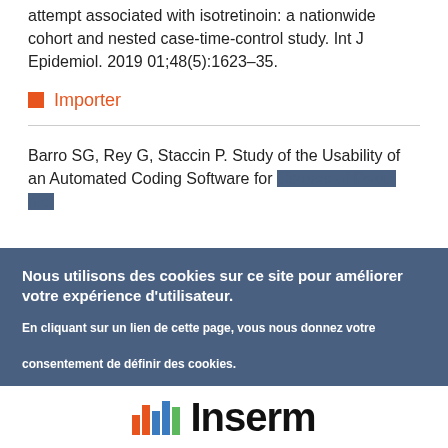attempt associated with isotretinoin: a nationwide cohort and nested case-time-control study. Int J Epidemiol. 2019 01;48(5):1623–35.
Importer
Barro SG, Rey G, Staccin P. Study of the Usability of an Automated Coding Software for Causes of Death...
Nous utilisons des cookies sur ce site pour améliorer votre expérience d'utilisateur.

En cliquant sur un lien de cette page, vous nous donnez votre consentement de définir des cookies.
[Figure (logo): Inserm logo with colored bar chart icon and bold Inserm text]